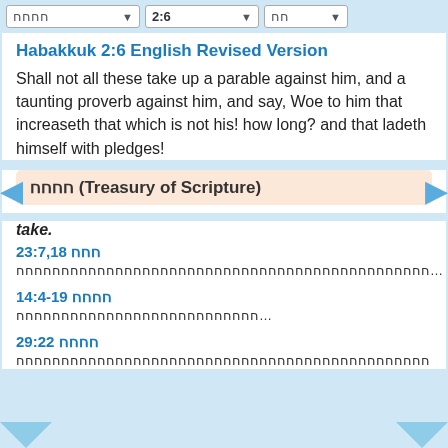חחח 2:6 חח
Habakkuk 2:6 English Revised Version
Shall not all these take up a parable against him, and a taunting proverb against him, and say, Woe to him that increaseth that which is not his! how long? and that ladeth himself with pledges!
חחחח (Treasury of Scripture)
take.
חחח 23:7,18
חחחחחחחחחחחחחחחחחחחחחחחחחחחחחחחחחחחחחחחחחחחחחח…
חחחח 14:4-19
חחחחחחחחחחחחחחחחחחחחחחחחחחח…
חחחח 29:22
חחחחחחחחחחחחחחחחחחחחחחחחחחחחחחחחחחחחחחחחחחחחחח